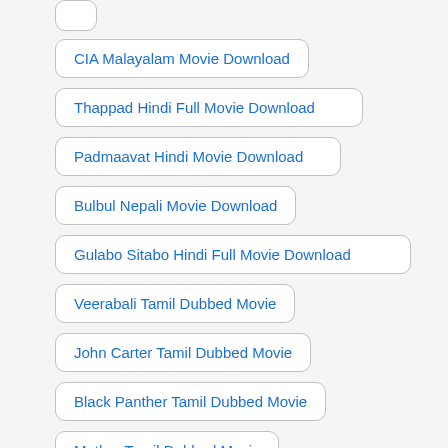CIA Malayalam Movie Download
Thappad Hindi Full Movie Download
Padmaavat Hindi Movie Download
Bulbul Nepali Movie Download
Gulabo Sitabo Hindi Full Movie Download
Veerabali Tamil Dubbed Movie
John Carter Tamil Dubbed Movie
Black Panther Tamil Dubbed Movie
Mother Tamil Dubbed Movie